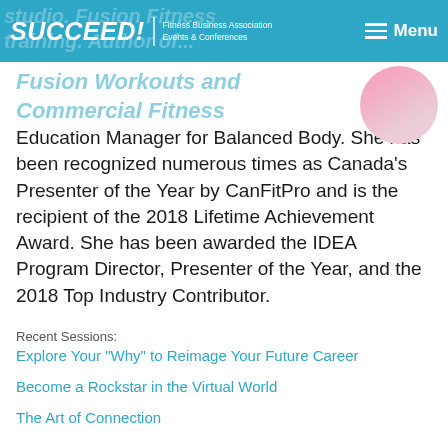SUCCEED! Fitness Business Association Events & Conferences | Menu
studio. Fusion Fitness training. Author of Fusion Workouts and Commercial Fitness Education Manager for Balanced Body. She has been recognized numerous times as Canada's Presenter of the Year by CanFitPro and is the recipient of the 2018 Lifetime Achievement Award. She has been awarded the IDEA Program Director, Presenter of the Year, and the 2018 Top Industry Contributor.
Recent Sessions:
Explore Your "Why" to Reimage Your Future Career
Become a Rockstar in the Virtual World
The Art of Connection